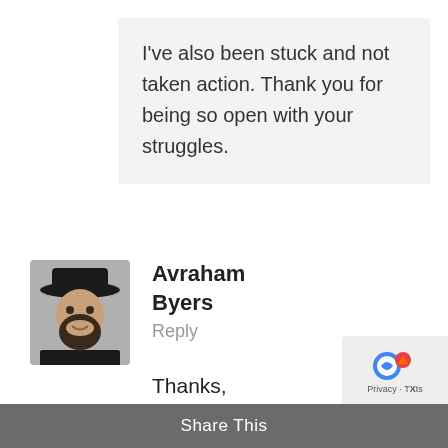I've also been stuck and not taken action. Thank you for being so open with your struggles.
Avraham Byers
Reply
[Figure (photo): Profile photo of a bearded man wearing a black hat, smiling]
Thanks, Jenny. I'm glad you enjoyed it.
Share This